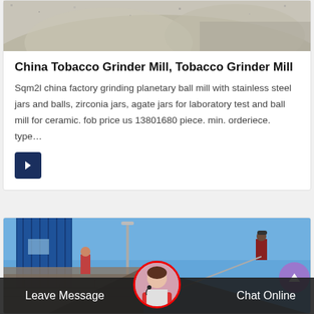[Figure (photo): Top portion of a gravel/sand pile, grayish texture, cropped photo at the top of the first card]
China Tobacco Grinder Mill, Tobacco Grinder Mill
Sqm2l china factory grinding planetary ball mill with stainless steel jars and balls, zirconia jars, agate jars for laboratory test and ball mill for ceramic. fob price us 13801680 piece. min. orderiece. type…
[Figure (photo): Construction scene with blue shipping container, workers on roof against blue sky]
Leave Message
Chat Online